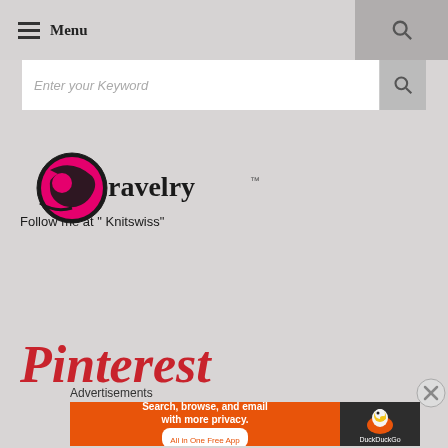≡ Menu
[Figure (screenshot): Search input bar with placeholder text 'Enter your Keyword' and a search button on the right]
[Figure (logo): Ravelry logo with tagline 'Follow me at "Knitswiss"']
[Figure (logo): Pinterest logo in red script font]
Advertisements
[Figure (screenshot): DuckDuckGo advertisement banner: 'Search, browse, and email with more privacy. All in One Free App' with DuckDuckGo duck logo]